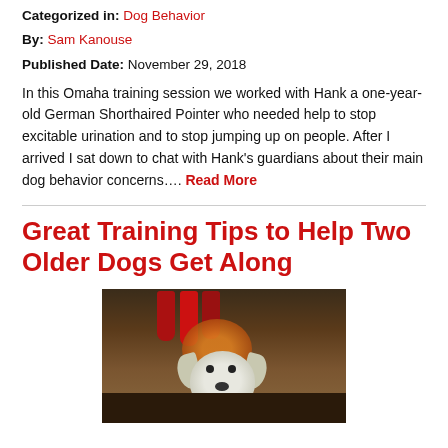Categorized in: Dog Behavior
By: Sam Kanouse
Published Date: November 29, 2018
In this Omaha training session we worked with Hank a one-year-old German Shorthaired Pointer who needed help to stop excitable urination and to stop jumping up on people. After I arrived I sat down to chat with Hank’s guardians about their main dog behavior concerns…. Read More
Great Training Tips to Help Two Older Dogs Get Along
[Figure (photo): A dog sitting in front of a fireplace decorated with red Christmas stockings]